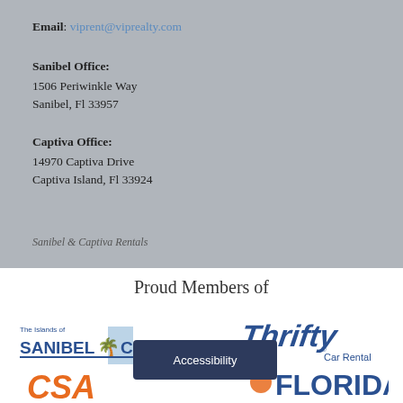Email: viprent@viprealty.com
Sanibel Office:
1506 Periwinkle Way
Sanibel, Fl 33957
Captiva Office:
14970 Captiva Drive
Captiva Island, Fl 33924
Sanibel & Captiva Rentals
Proud Members of
[Figure (logo): The Islands of SANIBEL & CAPTIVA organization logo in blue]
[Figure (logo): Thrifty Car Rental logo in blue]
[Figure (logo): CSA logo in orange]
[Figure (logo): Florida logo in blue and orange]
Accessibility